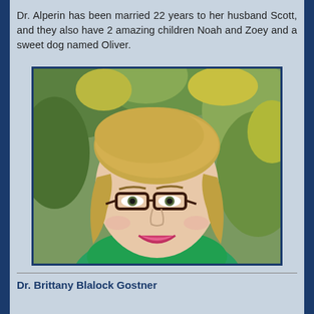Dr. Alperin has been married 22 years to her husband Scott, and they also have 2 amazing children Noah and Zoey and a sweet dog named Oliver.
[Figure (photo): Portrait photo of a woman with shoulder-length blonde hair, wearing glasses and a green top, smiling, with leafy background]
Dr. Brittany Blalock Gostner